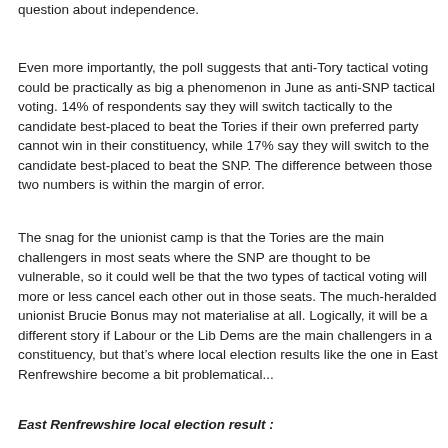question about independence.
Even more importantly, the poll suggests that anti-Tory tactical voting could be practically as big a phenomenon in June as anti-SNP tactical voting.  14% of respondents say they will switch tactically to the candidate best-placed to beat the Tories if their own preferred party cannot win in their constituency, while 17% say they will switch to the candidate best-placed to beat the SNP.  The difference between those two numbers is within the margin of error.
The snag for the unionist camp is that the Tories are the main challengers in most seats where the SNP are thought to be vulnerable, so it could well be that the two types of tactical voting will more or less cancel each other out in those seats.  The much-heralded unionist Brucie Bonus may not materialise at all.  Logically, it will be a different story if Labour or the Lib Dems are the main challengers in a constituency, but that’s where local election results like the one in East Renfrewshire become a bit problematical...
East Renfrewshire local election result :